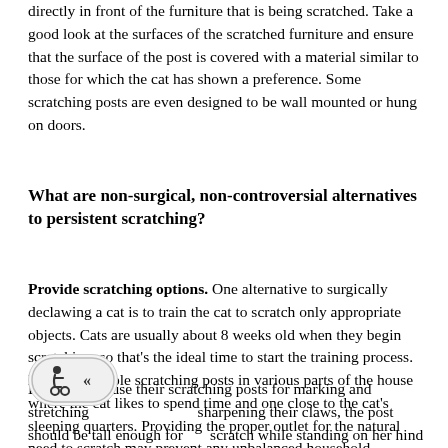directly in front of the furniture that is being scratched. Take a good look at the surfaces of the scratched furniture and ensure that the surface of the post is covered with a material similar to those for which the cat has shown a preference. Some scratching posts are even designed to be wall mounted or hung on doors.
What are non-surgical, non-controversial alternatives to persistent scratching?
Provide scratching options. One alternative to surgically declawing a cat is to train the cat to scratch only appropriate objects. Cats are usually about 8 weeks old when they begin scratching, so that's the ideal time to start the training process. Place acceptable scratching posts in various parts of the house where the cat likes to spend time and one close to the cat's sleeping quarters. Providing the proper outlet for the natural need to scratch may prevent any unbalanced household situations from ever developing.
Because cats use their scratching posts for marking and stretching as well as sharpening their claws, the post should be tall enough for a cat to scratch while standing on her hind legs with the forelegs extended, and sturdy enough so that it does not topple. Some cats prefer a scratching post with a corner so that two sides can be
[Figure (illustration): Small icon showing a wheelchair accessibility symbol and a double left-arrow (<<) inside a rounded rectangle badge]